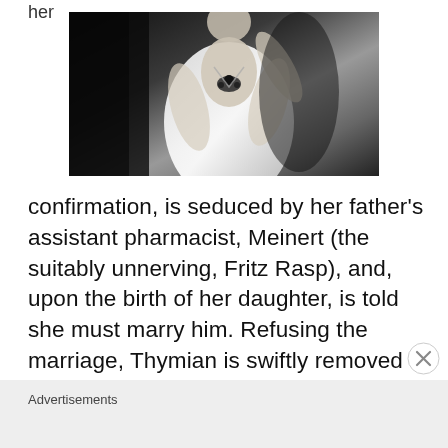her
[Figure (photo): Black and white photograph of a woman in a white dress with embellishment at the neckline, shown from shoulders up in a dramatic pose]
confirmation, is seduced by her father's assistant pharmacist, Meinert (the suitably unnerving, Fritz Rasp), and, upon the birth of her daughter, is told she must marry him. Refusing the marriage, Thymian is swiftly removed from the household, separated from her newly born child, and placed in a reformatory run by an uncompromising and perverse headmistress (Valeska Gert) and her bald, looming husband (Andrews Engelmann).
Advertisements